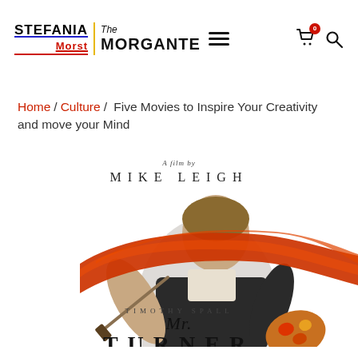STEFANIA Morst | The MORGANTE — navigation header with hamburger menu, cart (0), and search icon
Home / Culture / Five Movies to Inspire Your Creativity and move your Mind
[Figure (photo): Movie poster for 'Mr. Turner', a film by Mike Leigh, starring Timothy Spall. Shows a man holding a painter's palette with a dramatic red-orange brushstroke across the image.]